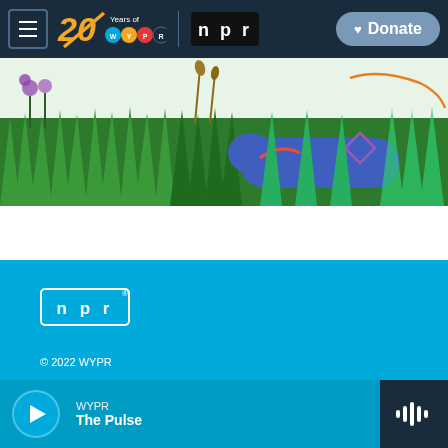[Figure (screenshot): WYPR website navigation bar with hamburger menu, 20 Years of WYPR logo, NPR logo, and Donate button on dark navy background]
[Figure (illustration): Colorful illustrated banner showing a blue figure lying in green grass with flowers and plants]
[Figure (logo): NPR logo in white outline box on blue background in footer area]
© 2022 WYPR
Donate
[Figure (screenshot): Audio player bar at bottom showing play button, WYPR station name, The Pulse show title, and waveform icon]